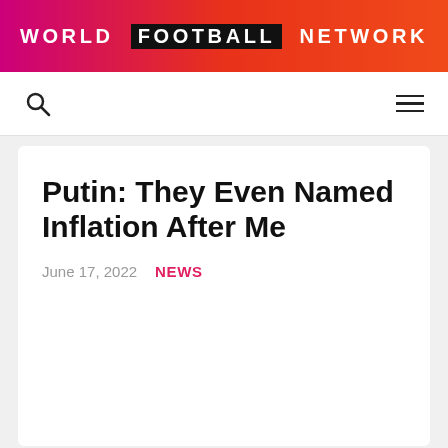WORLD FOOTBALL NETWORK
Putin: They Even Named Inflation After Me
June 17, 2022  NEWS